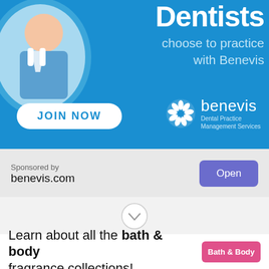[Figure (infographic): Benevis dental practice management services advertisement banner. Blue background with a smiling dentist in a circle on the left. Large white text reads 'Dentists choose to practice with Benevis'. A white 'JOIN NOW' button on the lower left. Benevis logo with flower icon on lower right with text 'Dental Practice Management Services'.]
Sponsored by
benevis.com
Open
[Figure (other): A chevron/down-arrow icon inside a circle, indicating scroll down.]
Learn about all the bath & body fragrance collections!
Bath & Body